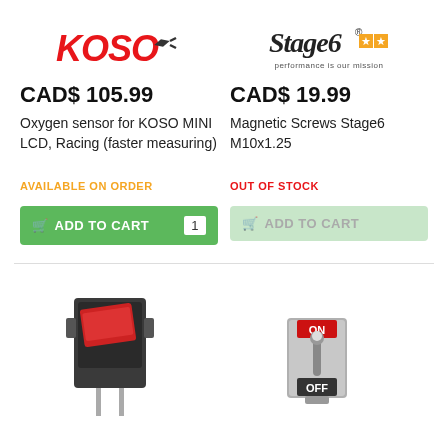[Figure (logo): KOSO logo in red italic bold text with racing flag icon]
[Figure (logo): Stage6 logo with star rating boxes and 'performance is our mission' tagline]
CAD$ 105.99
CAD$ 19.99
Oxygen sensor for KOSO MINI LCD, Racing (faster measuring)
Magnetic Screws Stage6 M10x1.25
AVAILABLE ON ORDER
OUT OF STOCK
[Figure (photo): Red and black rocker switch component photograph]
[Figure (photo): Silver metal toggle switch with ON and OFF labels photograph]